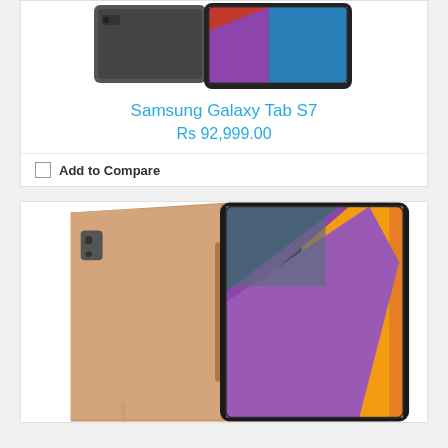[Figure (photo): Samsung Galaxy Tab S7 tablet shown from back and front, dark color, against white background (top portion visible)]
Samsung Galaxy Tab S7
Rs 92,999.00
Add to Compare
[Figure (photo): Samsung Galaxy Tab S7 tablet in bronze/pink gold color shown from back and front, with colorful abstract wallpaper visible on screen]